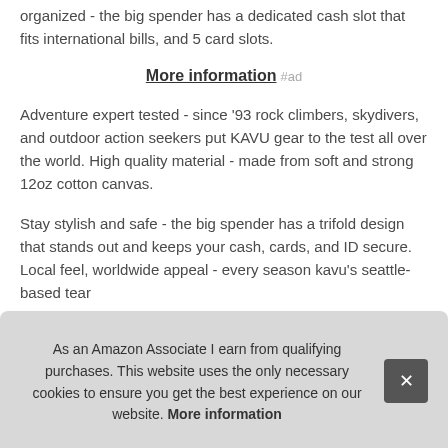organized - the big spender has a dedicated cash slot that fits international bills, and 5 card slots.
More information #ad
Adventure expert tested - since '93 rock climbers, skydivers, and outdoor action seekers put KAVU gear to the test all over the world. High quality material - made from soft and strong 12oz cotton canvas.
Stay stylish and safe - the big spender has a trifold design that stands out and keeps your cash, cards, and ID secure. Local feel, worldwide appeal - every season kavu's seattle-based team... Our... through... dim...
As an Amazon Associate I earn from qualifying purchases. This website uses the only necessary cookies to ensure you get the best experience on our website. More information